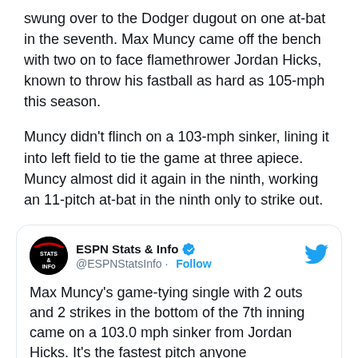swung over to the Dodger dugout on one at-bat in the seventh. Max Muncy came off the bench with two on to face flamethrower Jordan Hicks, known to throw his fastball as hard as 105-mph this season.
Muncy didn't flinch on a 103-mph sinker, lining it into left field to tie the game at three apiece. Muncy almost did it again in the ninth, working an 11-pitch at-bat in the ninth only to strike out.
[Figure (screenshot): Embedded tweet from ESPN Stats & Info (@ESPNStatsInfo) with verified badge and Follow button. Tweet text: Max Muncy's game-tying single with 2 outs and 2 strikes in the bottom of the 7th inning came on a 103.0 mph sinker from Jordan Hicks. It's the fastest pitch anyone has ever hit this...]